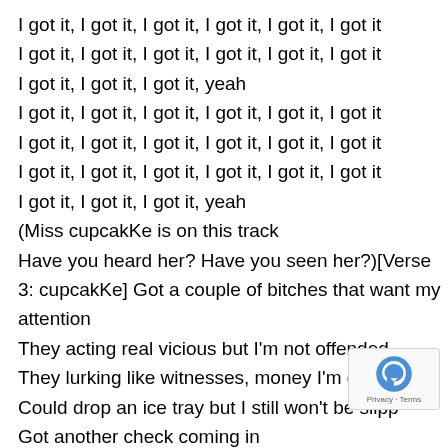I got it, I got it, I got it, I got it, I got it, I got it
I got it, I got it, I got it, I got it, I got it, I got it
I got it, I got it, I got it, yeah
I got it, I got it, I got it, I got it, I got it, I got it
I got it, I got it, I got it, I got it, I got it, I got it
I got it, I got it, I got it, I got it, I got it, I got it
I got it, I got it, I got it, yeah
(Miss cupcakKe is on this track
Have you heard her? Have you seen her?)[Verse 3: cupcakKe] Got a couple of bitches that want my attention
They acting real vicious but I'm not offended
They lurking like witnesses, money I'm getting
Could drop an ice tray but I still won't be slipp
Got another check coming in
Got a couple checks I ain't spent